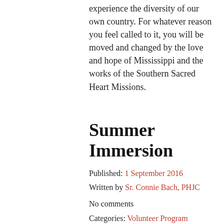experience the diversity of our own country. For whatever reason you feel called to it, you will be moved and changed by the love and hope of Mississippi and the works of the Southern Sacred Heart Missions.
Summer Immersion
Published: 1 September 2016
Written by Sr. Connie Bach, PHJC
No comments
Categories: Volunteer Program